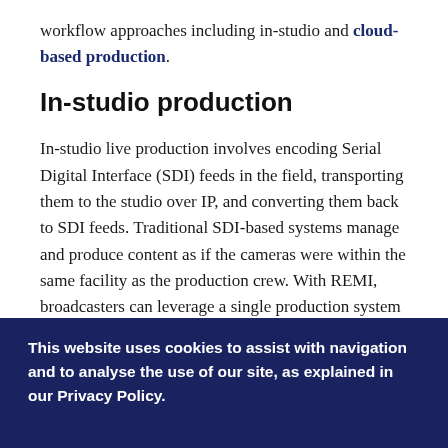workflow approaches including in-studio and cloud-based production.
In-studio production
In-studio live production involves encoding Serial Digital Interface (SDI) feeds in the field, transporting them to the studio over IP, and converting them back to SDI feeds. Traditional SDI-based systems manage and produce content as if the cameras were within the same facility as the production crew. With REMI, broadcasters can leverage a single production system to work on multiple events in different venues rather than sending an OB truck, crew,
This website uses cookies to assist with navigation and to analyse the use of our site, as explained in our Privacy Policy.